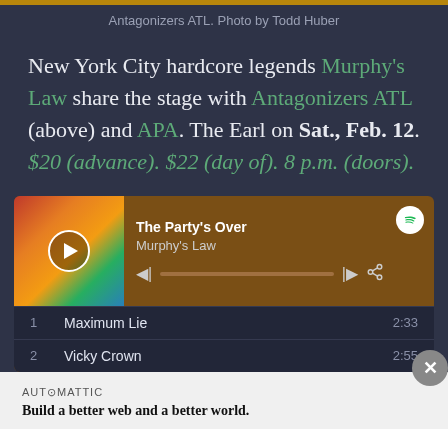Antagonizers ATL. Photo by Todd Huber
New York City hardcore legends Murphy's Law share the stage with Antagonizers ATL (above) and APA. The Earl on Sat., Feb. 12. $20 (advance). $22 (day of). 8 p.m. (doors).
[Figure (screenshot): Spotify embedded music player showing 'The Party's Over' by Murphy's Law with album art, playback controls, progress bar, and track listing with Maximum Lie (2:33) and Vicky Crown (2:55)]
AUTOMATTIC
Build a better web and a better world.